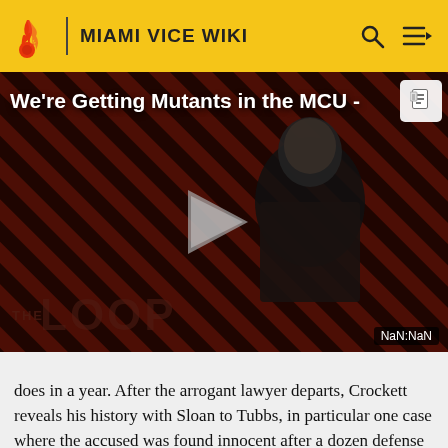MIAMI VICE WIKI
[Figure (screenshot): Video player showing 'We're Getting Mutants in the MCU -' with a dark-skinned bald man in a suit, overlaid on a red diagonal striped background. The Loop branding appears at bottom. A play button triangle is centered. NaN:NaN timestamp shown.]
does in a year. After the arrogant lawyer departs, Crockett reveals his history with Sloan to Tubbs, in particular one case where the accused was found innocent after a dozen defense witnesses miraculously appeared during the trial -- Crockett later learned that the witnesses had been paid to tell their stories and that